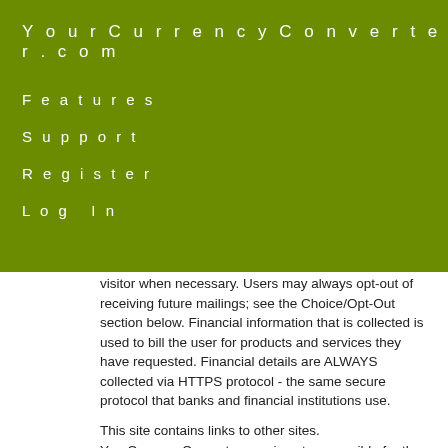YourCurrencyConverter.com
Features
Support
Register
Log In
visitor when necessary. Users may always opt-out of receiving future mailings; see the Choice/Opt-Out section below. Financial information that is collected is used to bill the user for products and services they have requested. Financial details are ALWAYS collected via HTTPS protocol - the same secure protocol that banks and financial institutions use.
This site contains links to other sites. YourCurrencyConverter.com is not responsible for the privacy practices or the content of other web sites.